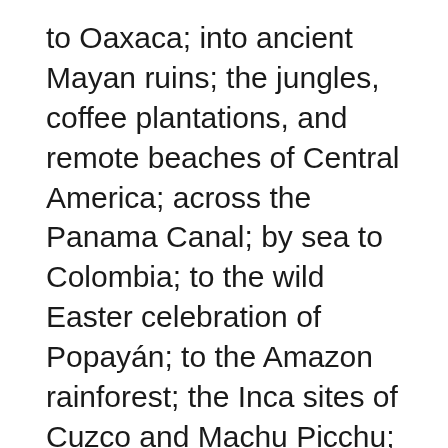to Oaxaca; into ancient Mayan ruins; the jungles, coffee plantations, and remote beaches of Central America; across the Panama Canal; by sea to Colombia; to the wild Easter celebration of Popayán; to the Amazon rainforest; the Inca sites of Cuzco and Machu Picchu; to the Galápagos Islands; the Atacama Desert of Chile; and down to wind-worn Patagonia at the bottom of the Western Hemisphere; Steve traveled collecting stories, adventures, oddities, marvels, bits of history and biography, tales of weirdos, fun facts, and anything else interesting or illuminating.
Steve's plan was to discover the unusual, wonderful, and absurd in Central and South America, to seek and find the incredible, delightful people and experiences that came his way. And